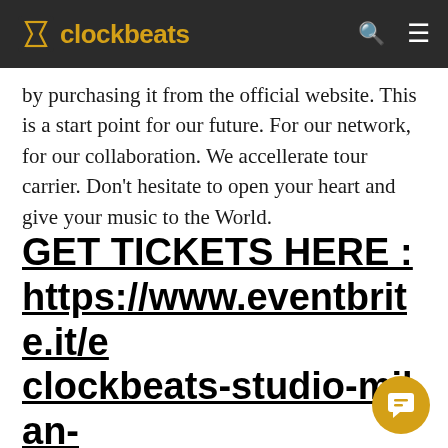clockbeats
by purchasing it from the official website. This is a start point for our future. For our network, for our collaboration. We accellerate tour carrier. Don't hesitate to open your heart and give your music to the World.
GET TICKETS HERE : https://www.eventbrite.it/e/clockbeats-studio-milan-lambrate-launch-party-43301822918